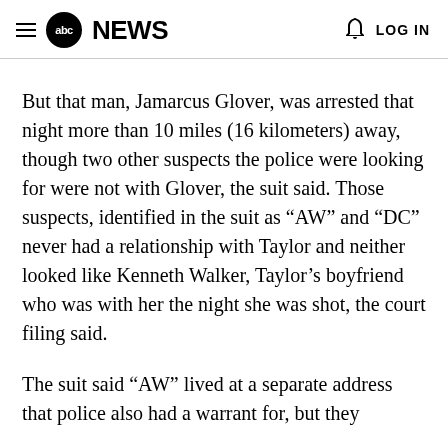abc NEWS  LOG IN
But that man, Jamarcus Glover, was arrested that night more than 10 miles (16 kilometers) away, though two other suspects the police were looking for were not with Glover, the suit said. Those suspects, identified in the suit as “AW” and “DC” never had a relationship with Taylor and neither looked like Kenneth Walker, Taylor’s boyfriend who was with her the night she was shot, the court filing said.
The suit said “AW” lived at a separate address that police also had a warrant for, but they